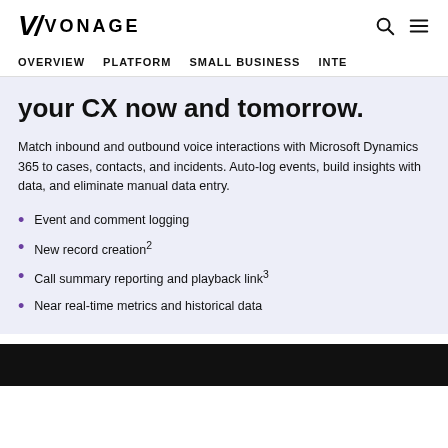VONAGE
OVERVIEW   PLATFORM   SMALL BUSINESS   INTE
your CX now and tomorrow.
Match inbound and outbound voice interactions with Microsoft Dynamics 365 to cases, contacts, and incidents. Auto-log events, build insights with data, and eliminate manual data entry.
Event and comment logging
New record creation²
Call summary reporting and playback link³
Near real-time metrics and historical data